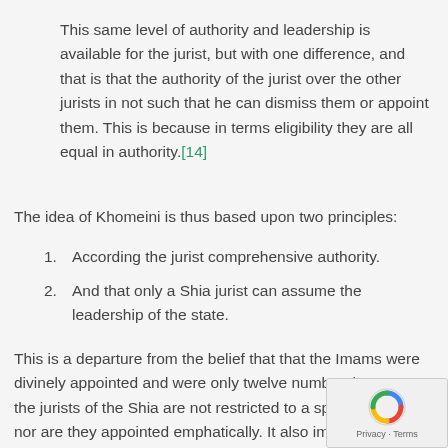This same level of authority and leadership is available for the jurist, but with one difference, and that is that the authority of the jurist over the other jurists in not such that he can dismiss them or appoint them. This is because in terms eligibility they are all equal in authority.[14]
The idea of Khomeini is thus based upon two principles:
1. According the jurist comprehensive authority.
2. And that only a Shia jurist can assume the leadership of the state.
This is a departure from the belief that that the Imams were divinely appointed and were only twelve number; because the jurists of the Shia are not restricted to a specific number nor are they appointed emphatically. It also implies that have returned to the understanding of leadership and